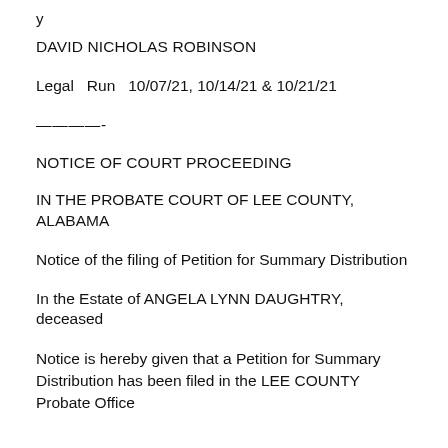y
DAVID NICHOLAS ROBINSON
Legal  Run  10/07/21, 10/14/21 & 10/21/21
————-
NOTICE OF COURT PROCEEDING
IN THE PROBATE COURT OF LEE COUNTY, ALABAMA
Notice of the filing of Petition for Summary Distribution
In the Estate of ANGELA LYNN DAUGHTRY, deceased
Notice is hereby given that a Petition for Summary Distribution has been filed in the LEE COUNTY Probate Office